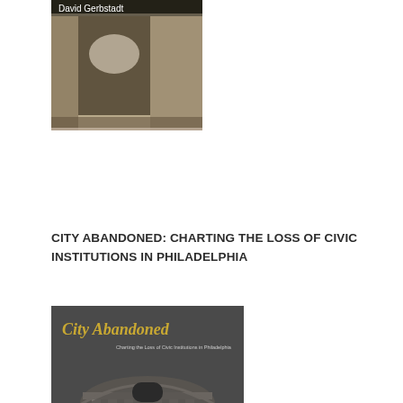[Figure (photo): Partial book cover or author photo showing a person, sepia/black-and-white tone, with text 'David Gerbstadt' visible at top]
CITY ABANDONED: CHARTING THE LOSS OF CIVIC INSTITUTIONS IN PHILADELPHIA
[Figure (photo): Book cover of 'City Abandoned: Charting the Loss of Civic Institutions in Philadelphia' by Vincent D. Feldman. Black and white photograph of a grand neoclassical building with columns and a dome. Yellow title text at top left reads 'City Abandoned' with subtitle below. Author name at bottom.]